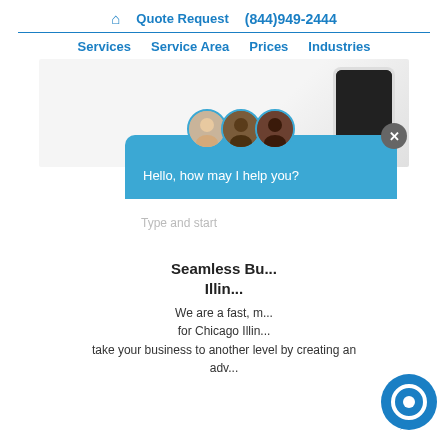🏠 Quote Request (844)949-2444
Services  Service Area  Prices  Industries
[Figure (photo): Hero banner with white background and a smartphone (black screen) in the upper right corner]
[Figure (screenshot): Chat popup widget with three avatar photos, message 'Hello, how may I help you?', and a text input area with placeholder 'Type and start'. A close X button is in the top right. A blue chat icon appears at the bottom right.]
Seamless Bu... Illin...
We are a fast, m... for Chicago Illin... take your business to another level by creating an adv...